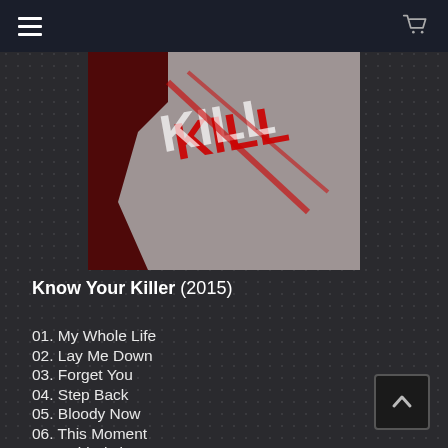[Figure (screenshot): Navigation bar with hamburger menu icon on the left and shopping cart icon on the right, dark navy background.]
[Figure (photo): Album cover art for 'Know Your Killer' (2015) — red and white grunge-style logo/text on dark background.]
Know Your Killer (2015)
01. My Whole Life
02. Lay Me Down
03. Forget You
04. Step Back
05. Bloody Now
06. This Moment
07. Cold Victim
08. Goodbye
09. Dear Enemy
10. A Better Way
11. Mindkill Method